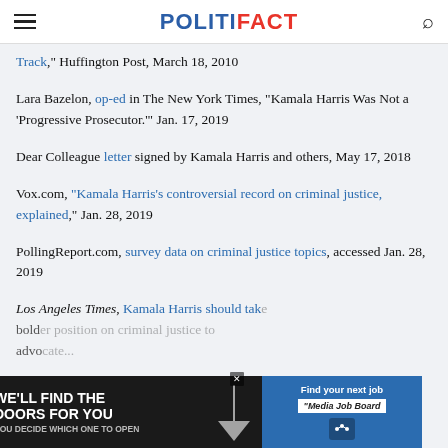POLITIFACT
Track," Huffington Post, March 18, 2010
Lara Bazelon, op-ed in The New York Times, "Kamala Harris Was Not a ‘Progressive Prosecutor.’" Jan. 17, 2019
Dear Colleague letter signed by Kamala Harris and others, May 17, 2018
Vox.com, "Kamala Harris’s controversial record on criminal justice, explained," Jan. 28, 2019
PollingReport.com, survey data on criminal justice topics, accessed Jan. 28, 2019
Los Angeles Times, Kamala Harris should take bold... advo... Jan. 28, 2019
[Figure (other): Advertisement banner: 'WE'LL FIND THE DOORS FOR YOU - You decide which one to open' on left dark panel, 'Find your next job - Media Job Board' on right blue panel]